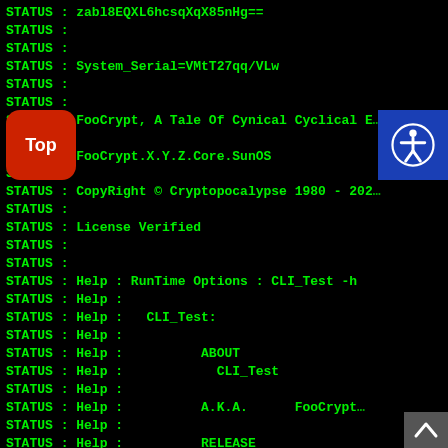STATUS : zabl8EQXL6hcsqXqX85nHg==
STATUS :
STATUS :
STATUS : System_Serial=VMtT27qq/VLw
STATUS :
STATUS :
STATUS : FooCrypt, A Tale Of Cynical Cyclical E...
STATUS :
STATUS : FooCrypt.X.Y.Z.Core.SunOS
STATUS :
STATUS : CopyRight © Cryptopocalypse 1980 - 202...
STATUS :
STATUS : License Verified
STATUS :
STATUS :
STATUS : Help : RunTime Options : CLI_Test -h
STATUS : Help :
STATUS : Help :   CLI_Test:
STATUS : Help :
STATUS : Help :          ABOUT
STATUS : Help :            CLI_Test
STATUS : Help :
STATUS : Help :          A.K.A.        FooCrypt...
STATUS : Help :
STATUS : Help :          RELEASE
STATUS : Help :            FooCrypt.X.Y.Z.Core...
STATUS : Help :